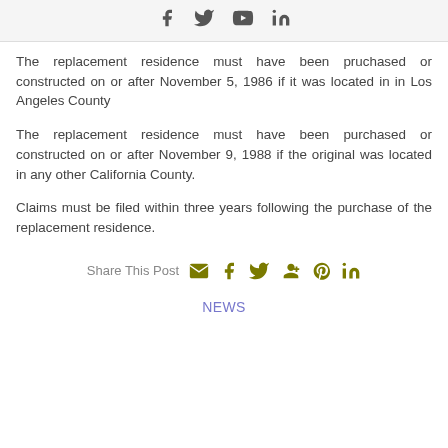Social media icons: Facebook, Twitter, YouTube, LinkedIn
The replacement residence must have been pruchased or constructed on or after November 5, 1986 if it was located in in Los Angeles County
The replacement residence must have been purchased or constructed on or after November 9, 1988 if the original was located in any other California County.
Claims must be filed within three years following the purchase of the replacement residence.
Share This Post [email, facebook, twitter, google+, pinterest, linkedin icons]
NEWS